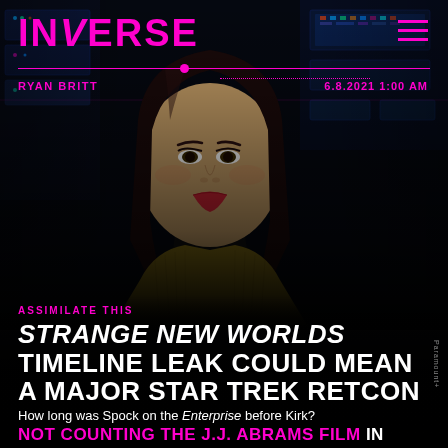INVERSE
RYAN BRITT
6.8.2021 1:00 AM
[Figure (photo): Woman with dark hair wearing a gold/olive Star Trek uniform on a sci-fi bridge set with panels and screens in the background]
ASSIMILATE THIS
STRANGE NEW WORLDS TIMELINE LEAK COULD MEAN A MAJOR STAR TREK RETCON
How long was Spock on the Enterprise before Kirk?
Paramount+
NOT COUNTING THE J.J. ABRAMS FILM in